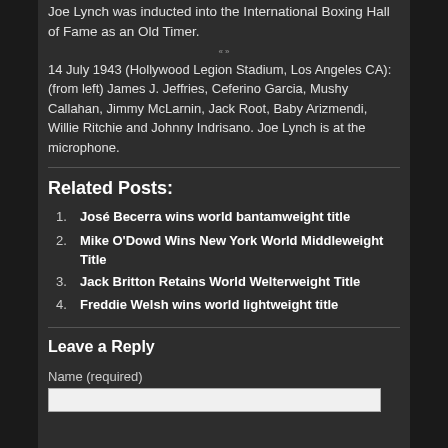Joe Lynch was inducted into the International Boxing Hall of Fame as an Old Timer.
14 July 1943 (Hollywood Legion Stadium, Los Angeles CA): (from left) James J. Jeffries, Ceferino Garcia, Mushy Callahan, Jimmy McLarnin, Jack Root, Baby Arizmendi, Willie Ritchie and Johnny Indrisano. Joe Lynch is at the microphone.
Related Posts:
José Becerra wins world bantamweight title
Mike O'Dowd Wins New York World Middleweight Title
Jack Britton Retains World Welterweight Title
Freddie Welsh wins world lightweight title
Leave a Reply
Name (required)